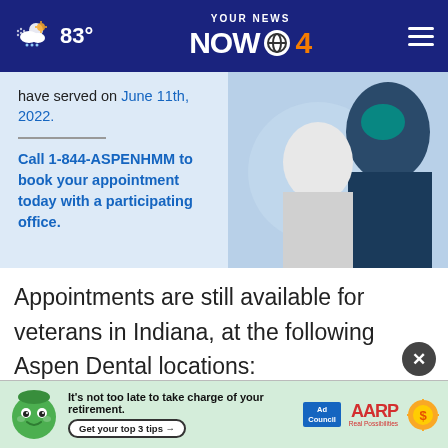83° YOUR NEWS NOW CBS4
[Figure (photo): Promotional banner for Aspen Dental veterans offer. Text reads: 'have served on June 11th, 2022. Call 1-844-ASPENHMM to book your appointment today with a participating office.' Background shows a healthcare worker assisting a patient.]
Appointments are still available for veterans in Indiana, at the following Aspen Dental locations:
Columbus location (partially visible)
(partially visible)
[Figure (infographic): AARP Ad Council advertisement banner: 'It's not too late to take charge of your retirement. Get your top 3 tips →' with green mascot, Ad Council logo, AARP logo and sun/coin graphic.]